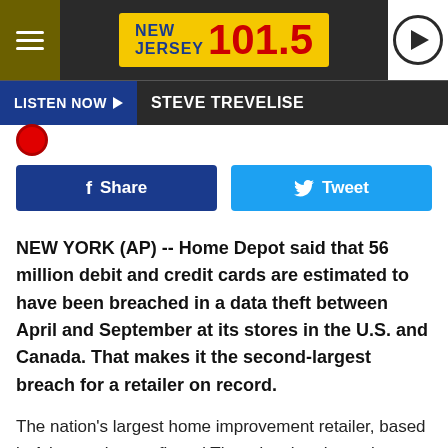[Figure (logo): New Jersey 101.5 radio station header with hamburger menu, yellow logo, and play button]
LISTEN NOW ▶  STEVE TREVELISE
[Figure (screenshot): Red circle icon (partial)]
[Figure (screenshot): Facebook Share button and Twitter Tweet button]
NEW YORK (AP) -- Home Depot said that 56 million debit and credit cards are estimated to have been breached in a data theft between April and September at its stores in the U.S. and Canada. That makes it the second-largest breach for a retailer on record.
The nation's largest home improvement retailer, based in Atlanta, also confirmed Thursday that the malware used in the data breach has been eliminated. The retailer said there was no evidence that debit PIN numbers were compromised